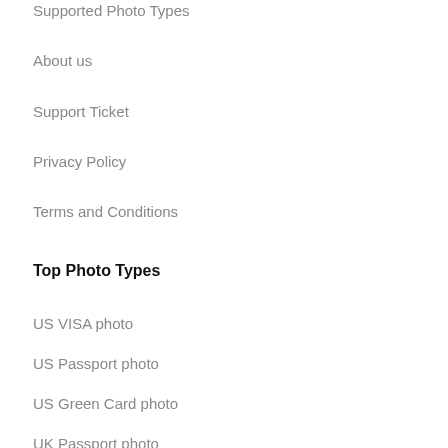Supported Photo Types
About us
Support Ticket
Privacy Policy
Terms and Conditions
Top Photo Types
US VISA photo
US Passport photo
US Green Card photo
UK Passport photo
UK VISA photo